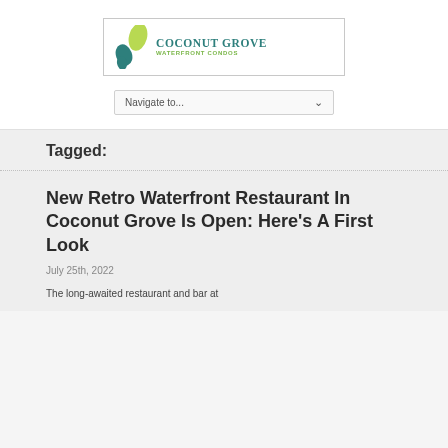[Figure (logo): Coconut Grove Waterfront Condos logo with green leaf graphic and teal text]
Navigate to...
Tagged:
New Retro Waterfront Restaurant In Coconut Grove Is Open: Here's A First Look
July 25th, 2022
The long-awaited restaurant and bar at